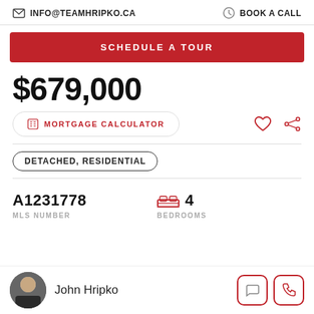INFO@TEAMHRIPKO.CA  BOOK A CALL
SCHEDULE A TOUR
$679,000
MORTGAGE CALCULATOR
DETACHED, RESIDENTIAL
A1231778
MLS NUMBER
4
BEDROOMS
John Hripko